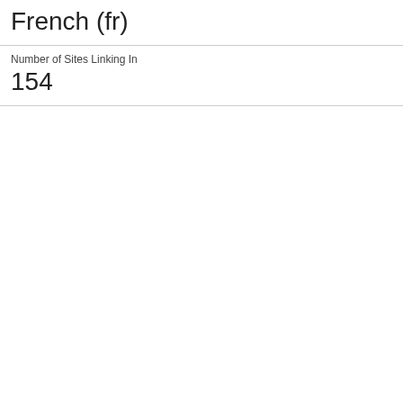French (fr)
Number of Sites Linking In
154